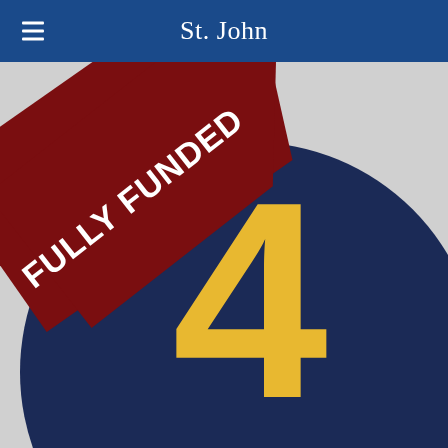St. John
[Figure (infographic): A circular dark navy badge with a large yellow '4' in the center, on a light grey background. A dark red diagonal banner across the top-left corner reads 'FULLY FUNDED' in white bold text.]